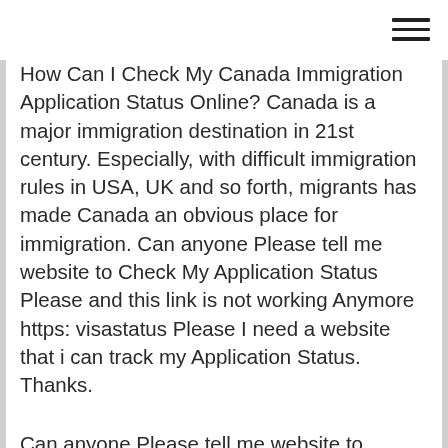How Can I Check My Canada Immigration Application Status Online? Canada is a major immigration destination in 21st century. Especially, with difficult immigration rules in USA, UK and so forth, migrants has made Canada an obvious place for immigration. Can anyone Please tell me website to Check My Application Status Please and this link is not working Anymore https: visastatus Please I need a website that i can track my Application Status. Thanks.
Can anyone Please tell me website to Check My Application Status Please and this link is not working Anymore https: visastatus Please I need